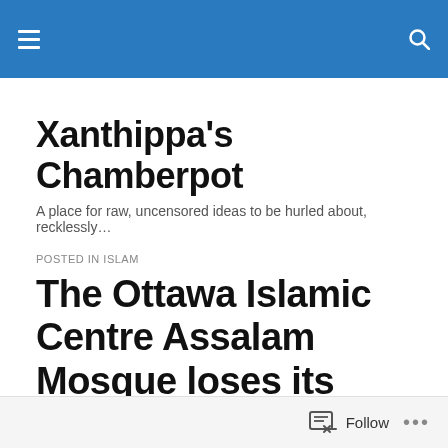Xanthippa's Chamberpot — navigation bar
Xanthippa's Chamberpot
A place for raw, uncensored ideas to be hurled about, recklessly…
POSTED IN ISLAM
The Ottawa Islamic Centre Assalam Mosque loses its charitable status for hate speech, yet its attendance remains unaffected
Follow